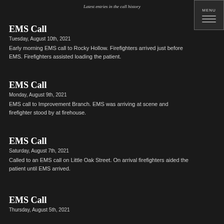Latest entries in the call history
EMS Call
Tuesday, August 10th, 2021
Early morning EMS call to Rocky Hollow. Firefighters arrived just before EMS. Firefighters assisted loading the patient.
EMS Call
Monday, August 9th, 2021
EMS call to Improvement Branch. EMS was arriving at scene and firefighter stood by at firehouse.
EMS Call
Saturday, August 7th, 2021
Called to an EMS call on Little Oak Street. On arrival firefighters aided the patient until EMS arrived.
EMS Call
Thursday, August 5th, 2021